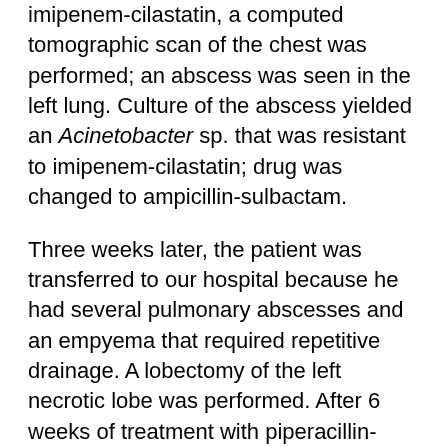imipenem-cilastatin, a computed tomographic scan of the chest was performed; an abscess was seen in the left lung. Culture of the abscess yielded an Acinetobacter sp. that was resistant to imipenem-cilastatin; drug was changed to ampicillin-sulbactam.
Three weeks later, the patient was transferred to our hospital because he had several pulmonary abscesses and an empyema that required repetitive drainage. A lobectomy of the left necrotic lobe was performed. After 6 weeks of treatment with piperacillin-tazobactam, the patient was discharged from the hospital. One month later, the patient returned to the hospital with back pain with no previous spinal pathology. Paravertebral collection showed spondylodiscitis (T8–T9), caused by Scedosporium apiospermum. After surgical drainage, the spine was immobilized with an external corset, and...